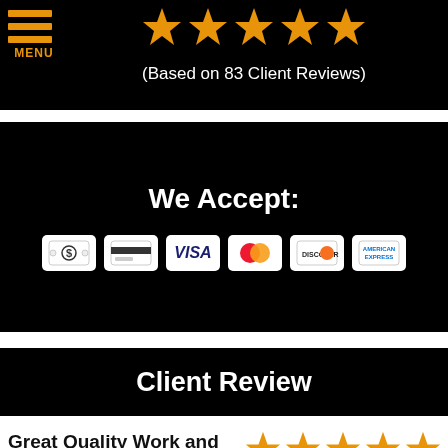[Figure (screenshot): Top navigation bar with hamburger menu icon labeled MENU in orange, five gold stars, and text '(Based on 83 Client Reviews)' on black background]
[Figure (screenshot): Black banner with 'We Accept:' in bold white text and 6 payment method icons (cash, credit card, Visa, Mastercard, Discover, AmEx)]
Client Review
Great Quality Work and Customer Service was awesome!
Great Quality Work and Customer Service was awesome!... read more
[Figure (screenshot): Five gold stars rating for the client review]
[Figure (screenshot): Bottom right corner shows two circular orange buttons - phone/call now and email/contact now icons partially visible]